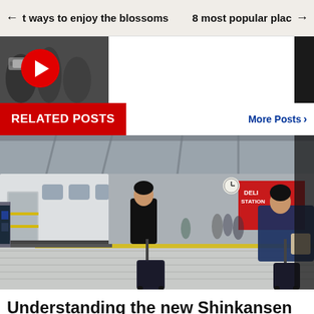← t ways to enjoy the blossoms   8 most popular place →
[Figure (photo): Partial view of a video thumbnail with a red play button circle on the left, white space in the center, and black background on the right.]
RELATED POSTS
More Posts >
[Figure (photo): Shinkansen bullet train at a Japanese railway station platform. Passengers with luggage are walking along the platform. A red DELI sign is visible in the background.]
Understanding the new Shinkansen